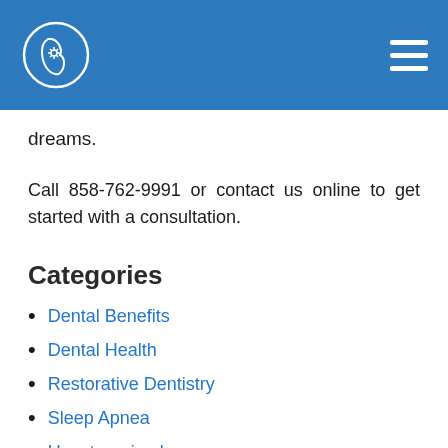[Figure (logo): Dental/medical practice logo: white line drawing of a head profile with a flower/star inside, circular outline, on blue background header bar]
dreams.
Call 858-762-9991 or contact us online to get started with a consultation.
Categories
Dental Benefits
Dental Health
Restorative Dentistry
Sleep Apnea
Uncategorized